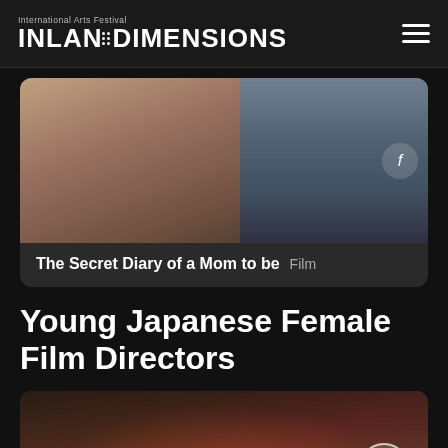INLAND DIMENSIONS International Arts Festival
[Figure (photo): Film card showing a woman in a soft-lit scene, paired with a bookshelf/interior scene to the right, with a Facebook share icon overlay]
The Secret Diary of a Mom to be  Film
Young Japanese Female Film Directors
[Figure (photo): Several young women seated around a round table with food and drinks in a dim interior setting, with a circular chevron-up navigation button overlay]